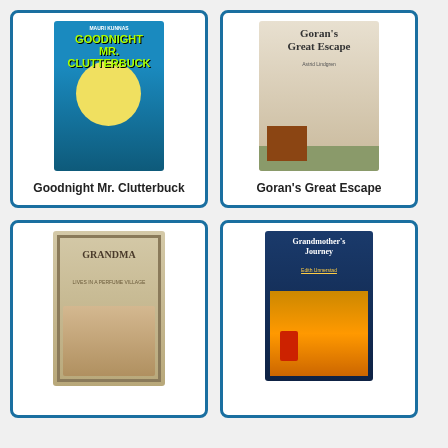[Figure (illustration): Book cover: Goodnight Mr. Clutterbuck - colorful children's book cover with yellow moon and characters dancing]
Goodnight Mr. Clutterbuck
[Figure (illustration): Book cover: Goran's Great Escape by Astrid Lindgren - pastoral farm scene with barn and animals]
Goran's Great Escape
[Figure (illustration): Book cover: Grandma Lives in a Perfume Village - illustrated cover with decorative floral border and indoor scene]
[Figure (illustration): Book cover: Grandmother's Journey by Edith Unnerstad - dark blue cover with colorful train scene and figure in red]